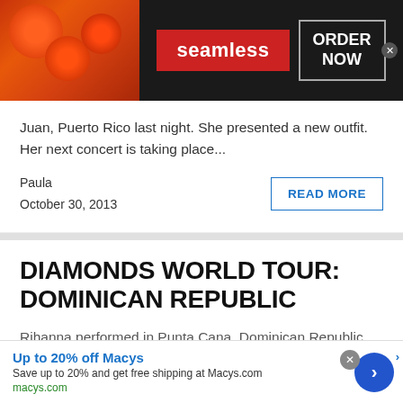[Figure (screenshot): Seamless food delivery ad banner with pizza image on left, red Seamless logo in center, and ORDER NOW button on right with close X button]
Juan, Puerto Rico last night. She presented a new outfit. Her next concert is taking place...
Paula
October 30, 2013
READ MORE
DIAMONDS WORLD TOUR: DOMINICAN REPUBLIC
Rihanna performed in Punta Cana, Dominican Republic last
[Figure (screenshot): Macy's advertisement: Up to 20% off Macys. Save up to 20% and get free shipping at Macys.com. macys.com. Blue arrow button on right. Close X button.]